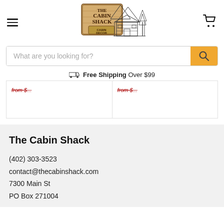The Cabin Shack – navigation header with logo, hamburger menu, cart icon, search bar, and free shipping notice
[Figure (logo): The Cabin Shack logo with wooden sign text and illustrated log cabin with mountains]
What are you looking for?
Free Shipping Over $99
from $...
from $...
The Cabin Shack
(402) 303-3523
contact@thecabinshack.com
7300 Main St
PO Box 271004